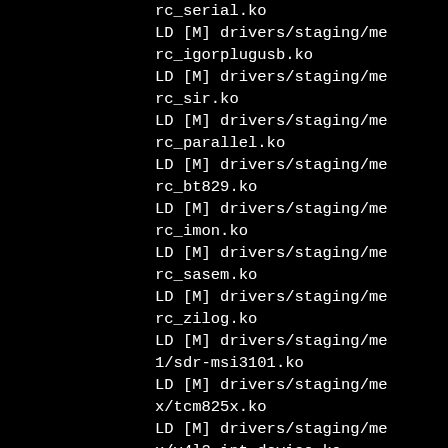rc_serialko
LD [M] drivers/staging/mec
rc_igorplugusb.ko
LD [M] drivers/staging/mec
rc_sir.ko
LD [M] drivers/staging/mec
rc_parallel.ko
LD [M] drivers/staging/mec
rc_bt829.ko
LD [M] drivers/staging/mec
rc_imon.ko
LD [M] drivers/staging/mec
rc_sasem.ko
LD [M] drivers/staging/mec
rc_zilog.ko
LD [M] drivers/staging/mec
1/sdr-msi3101.ko
LD [M] drivers/staging/mec
x/tcm825x.ko
LD [M] drivers/staging/mec
x/v4l2-int-device.ko
LD [M] drivers/staging/mt2
d/mt29f_spinand.ko
LD [M] drivers/staging/med